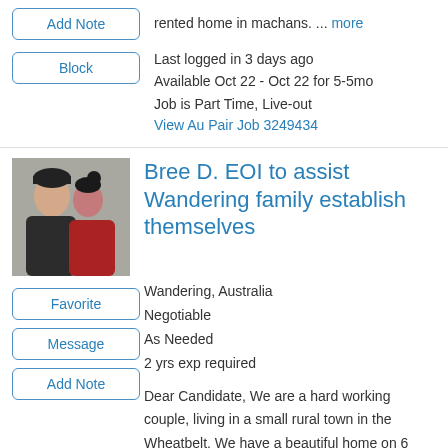rented home in machans. ... more
Last logged in 3 days ago
Available Oct 22 - Oct 22 for 5-5mo
Job is Part Time, Live-out
View Au Pair Job 3249434
Bree D. EOI to assist Wandering family establish themselves
Wandering, Australia
Negotiable
As Needed
2 yrs exp required
Dear Candidate, We are a hard working couple, living in a small rural town in the Wheatbelt. We have a beautiful home on 6 acres of land, that